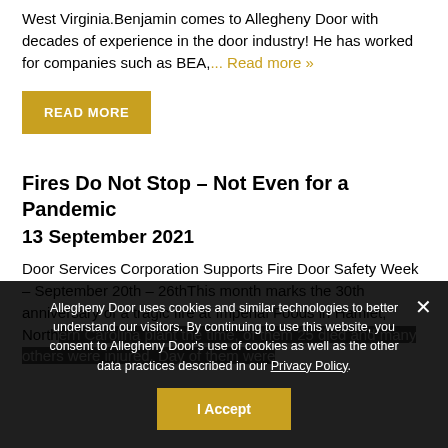West Virginia.Benjamin comes to Allegheny Door with decades of experience in the door industry! He has worked for companies such as BEA,... Read more »
READ MORE
Fires Do Not Stop – Not Even for a Pandemic
13 September 2021
Door Services Corporation Supports Fire Door Safety Week – September 20th – 26thThis month marks the 30th anniversary of a tragic fire at Imperial Foods in Hamlet, North Carolina plant the time, of them 25 died and many others were injured. Day of them were...
Allegheny Door uses cookies and similar technologies to better understand our visitors. By continuing to use this website, you consent to Allegheny Door's use of cookies as well as the other data practices described in our Privacy Policy.
I Accept